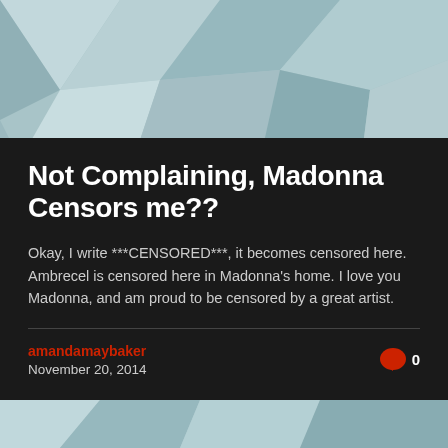[Figure (illustration): Polygonal geometric background with light teal/grey triangular facets forming an abstract pattern, top portion of page]
Not Complaining, Madonna Censors me??
Okay, I write ***CENSORED***, it becomes censored here. Ambrecel is censored here in Madonna's home. I love you Madonna, and am proud to be censored by a great artist.
amandamaybaker
November 20, 2014
[Figure (illustration): Polygonal geometric background with light teal/grey triangular facets, bottom portion of page]